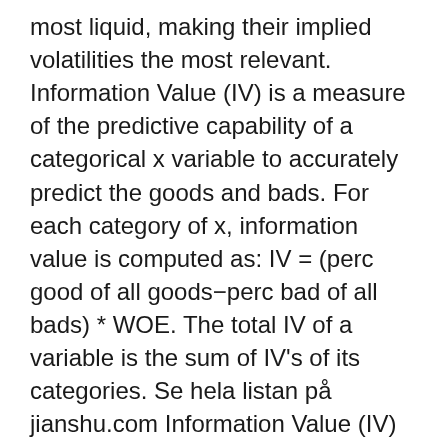most liquid, making their implied volatilities the most relevant. Information Value (IV) is a measure of the predictive capability of a categorical x variable to accurately predict the goods and bads. For each category of x, information value is computed as: IV = (perc good of all goods−perc bad of all bads) * WOE. The total IV of a variable is the sum of IV's of its categories. Se hela listan på jianshu.com Information Value (IV) refers to a data exploration technique that helps determine which variables in a dataset have predictive power or influence on the value of a dependent variable. This technique delivers an IV score, which in itself tells you whether one variable A is a good predictor for another (say B ). What is an IV in Pokemon Go? Each Pokemon has 3 separate IVs: these are hidden values between 0 and 15 for the Attack, Defense, and